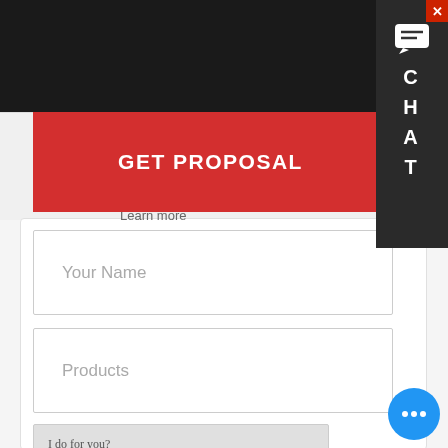[Figure (screenshot): Top navigation black bar with chat sidebar showing C H A T letters and message icon, and a red close button]
GET PROPOSAL
Learn more
Your Name
Products
I do for you?
nail add. with equipment inquiry, we will reply you with detail.
[Figure (screenshot): Blue circular chat bubble button with three dots (ellipsis) icon]